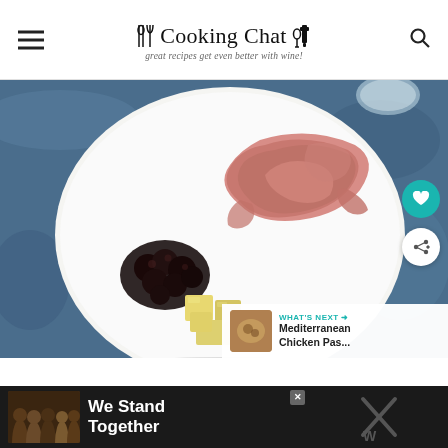Cooking Chat — great recipes get even better with wine!
[Figure (photo): Overhead view of a white plate on a blue stone surface with prosciutto/cured meat, black olives, and cubed cheese arranged on it. A wine glass is partially visible in the upper right. UI overlays include a teal heart icon button and a white share icon button on the right side.]
WHAT'S NEXT → Mediterranean Chicken Pas...
[Figure (photo): Advertisement banner: dark background with group of people standing together viewed from behind, text reading 'We Stand Together'. Close button (X) in top right corner. Additional dark panel on the right with X mark.]